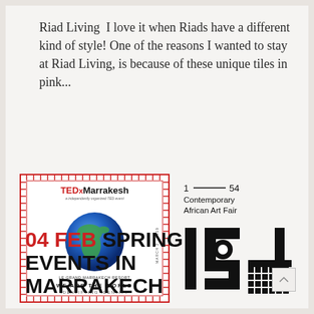Riad Living  I love it when Riads have a different kind of style! One of the reasons I wanted to stay at Riad Living, is because of these unique tiles in pink...
[Figure (logo): TEDxMarrakesh stamp-style poster with globe. WE ARE THE WORLD / IDENTIFYING IDENTITY]
[Figure (logo): 1-54 Contemporary African Art Fair logo with large stylized numerals]
04 FEB SPRING EVENTS IN MARRAKECH